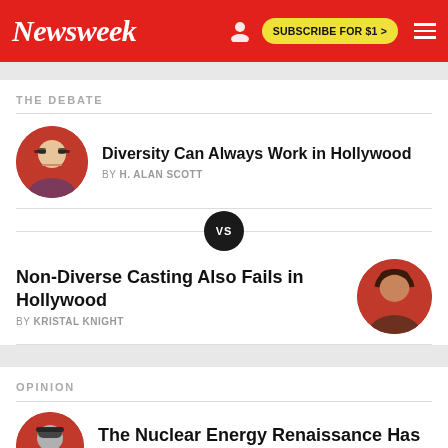Newsweek | SUBSCRIBE FOR $1 >
THE DEBATE
Diversity Can Always Work in Hollywood
BY H. ALAN SCOTT
[Figure (other): VS divider circle]
Non-Diverse Casting Also Fails in Hollywood
BY KRISTAL KNIGHT
OPINION
The Nuclear Energy Renaissance Has Arrived